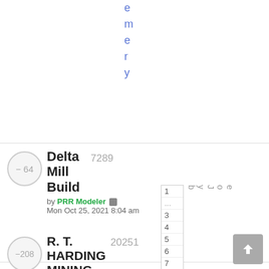e m e r y (vertical blue text, partial/clipped at top)
Delta Mill Build — votes: -64, views: 7289, by PRR Modeler, Mon Oct 25, 2021 8:04 am
1
...
3
4
5
6
7
by Joe (vertical text beside pagination)
R. T. HARDING MINING CO. — votes: -208, views: 20251, by Jerry, Sat Sep 25, 2021 9:45 am